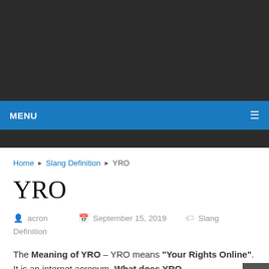MENU
Home ▶ Slang Definition ▶ YRO
YRO
acron   September 15, 2019   Slang Definition
The Meaning of YRO – YRO means "Your Rights Online". It is an internet acronym. What does YRO mean? YRO is an abbreviation that stands for "Your